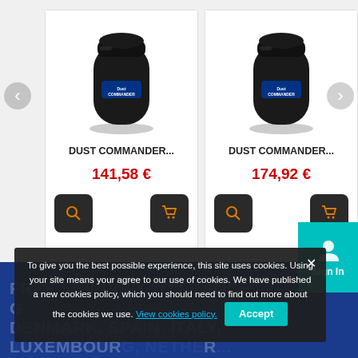[Figure (screenshot): E-commerce product listing page showing two 'DUST COMMANDER...' vacuum/dust collector products. Left product priced at 141,58 €, right product priced at 174,92 €. Each card has a product image, title, price in red, and two dark icon buttons (search and cart). Left and right navigation arrows visible. A teal 'Sign In' button is on the right. Bottom section has a dark blue footer with faint white uppercase text about free shipping to France, Germany, Denmark, Spain, Italy, Luxembourg, Netherlands. A dark cookie consent banner overlays the bottom portion with text about cookies policy, a 'View cookies policy' link and an 'Accept' button.]